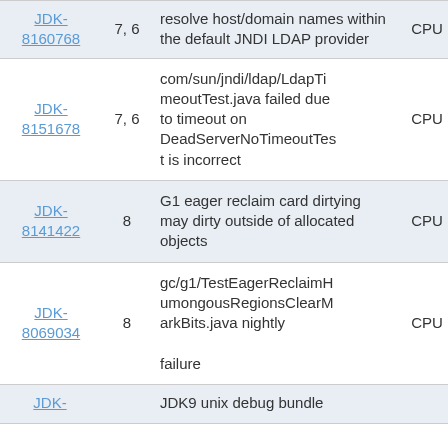| ID | Version | Description | Tag |
| --- | --- | --- | --- |
| JDK-8160768 | 7, 6 | resolve host/domain names within the default JNDI LDAP provider | CPU |
| JDK-8151678 | 7, 6 | com/sun/jndi/ldap/LdapTimeoutTest.java failed due to timeout on DeadServerNoTimeoutTest is incorrect | CPU |
| JDK-8141422 | 8 | G1 eager reclaim card dirtying may dirty outside of allocated objects | CPU |
| JDK-8069034 | 8 | gc/g1/TestEagerReclaimHumongousRegionsClearMarkBits.java nightly failure | CPU |
| JDK- |  | JDK9 unix debug bundle... |  |